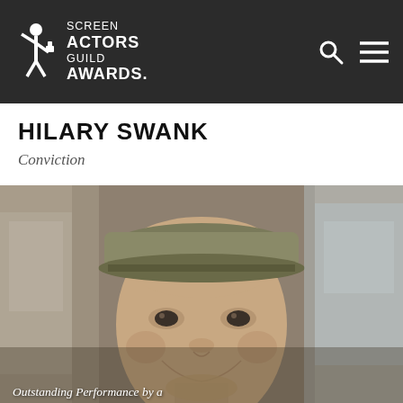[Figure (logo): Screen Actors Guild Awards logo — white figure holding award aloft, with 'SCREEN ACTORS GUILD AWARDS.' text in white on dark background, plus search and menu icons]
HILARY SWANK
Conviction
[Figure (photo): Close-up photo of a person wearing a backwards baseball cap, smiling slightly, outdoors with blurred background]
Outstanding Performance by a